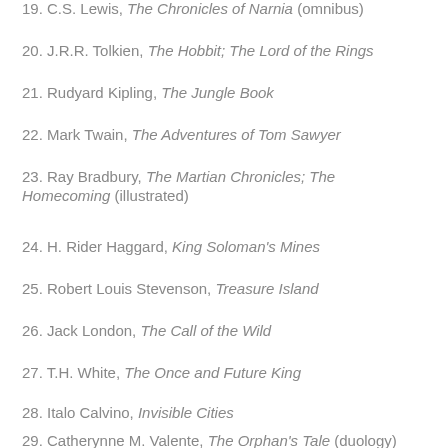19. C.S. Lewis, The Chronicles of Narnia (omnibus)
20. J.R.R. Tolkien, The Hobbit; The Lord of the Rings
21. Rudyard Kipling, The Jungle Book
22. Mark Twain, The Adventures of Tom Sawyer
23. Ray Bradbury, The Martian Chronicles; The Homecoming (illustrated)
24. H. Rider Haggard, King Soloman's Mines
25. Robert Louis Stevenson, Treasure Island
26. Jack London, The Call of the Wild
27. T.H. White, The Once and Future King
28. Italo Calvino, Invisible Cities
29. Catherynne M. Valente, The Orphan's Tale (duology)